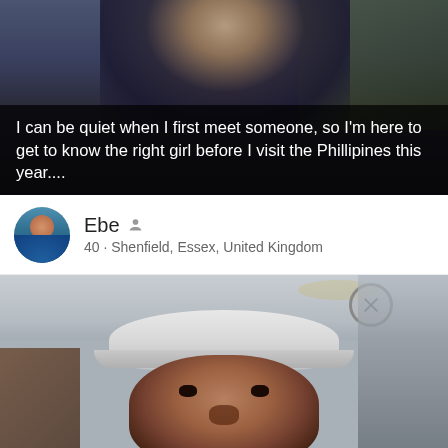[Figure (photo): Top portion showing a person in a dark jacket, partially cropped, against a dark background. A dark semi-transparent banner overlays the bottom of the photo with text.]
I can be quiet when I first meet someone, so I'm here to get to know the right girl before I visit the Phillipines this year....
Ebe • 40 • Shenfield, Essex, United Kingdom
[Figure (photo): Man sitting in a car, wearing a white cap/visor, taking a selfie. Car interior visible with grey ceiling. The man is looking up at the camera.]